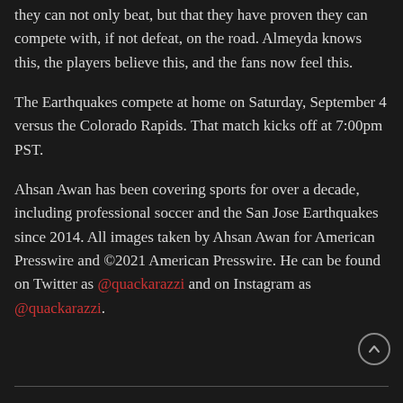they can not only beat, but that they have proven they can compete with, if not defeat, on the road. Almeyda knows this, the players believe this, and the fans now feel this.
The Earthquakes compete at home on Saturday, September 4 versus the Colorado Rapids. That match kicks off at 7:00pm PST.
Ahsan Awan has been covering sports for over a decade, including professional soccer and the San Jose Earthquakes since 2014. All images taken by Ahsan Awan for American Presswire and ©2021 American Presswire. He can be found on Twitter as @quackarazzi and on Instagram as @quackarazzi.